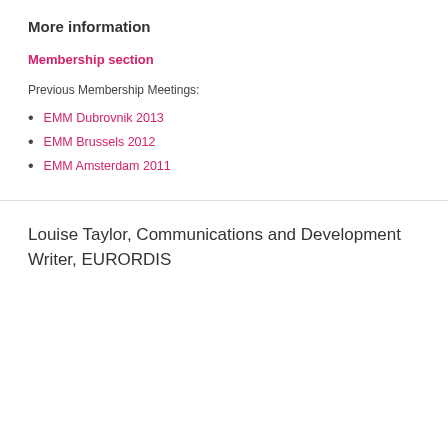More information
Membership section
Previous Membership Meetings:
EMM Dubrovnik 2013
EMM Brussels 2012
EMM Amsterdam 2011
Louise Taylor, Communications and Development Writer, EURORDIS